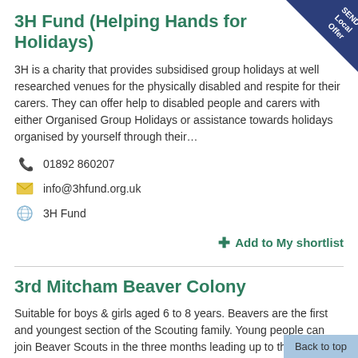3H Fund (Helping Hands for Holidays)
[Figure (other): SEND Local Offer corner badge triangle in dark navy/blue]
3H is a charity that provides subsidised group holidays at well researched venues for the physically disabled and respite for their carers. They can offer help to disabled people and carers with either Organised Group Holidays or assistance towards holidays organised by yourself through their…
01892 860207
info@3hfund.org.uk
3H Fund
+ Add to My shortlist
3rd Mitcham Beaver Colony
Suitable for boys & girls aged 6 to 8 years. Beavers are the first and youngest section of the Scouting family. Young people can join Beaver Scouts in the three months leading up to their sixth birthday. Easily recognised by their distinctive turquoise sweatshirts, Beaver…
Back to top